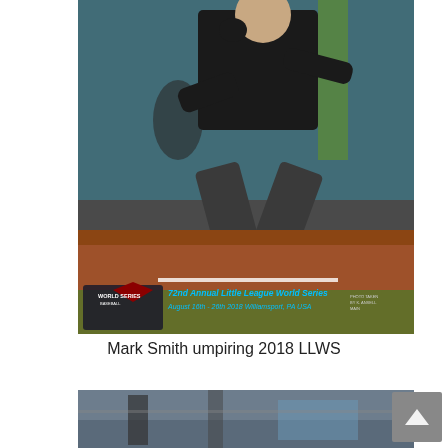[Figure (photo): Umpire Mark Smith in a crouching position on a baseball field at the 2018 Little League World Series. He wears a black shirt and dark pants. The field has red dirt infield and green grass. A World Series Baseball logo and text reading '72nd Annual Little League World Series, August 16th - 26th 2018 Williamsport, PA USA' appears at the bottom of the image.]
Mark Smith umpiring 2018 LLWS
[Figure (photo): Partial view of a baseball stadium scene, cropped at the bottom of the page.]